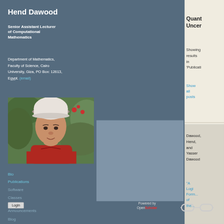Hend Dawood
Senior Assistant Lecturer of Computational Mathematics
Department of Mathematics, Faculty of Science, Cairo University, Giza, PO Box: 12613, Egypt. (email)
[Figure (photo): Portrait photo of Hend Dawood wearing a white cap and red top, with green foliage in background]
Bio
Publications
Software
Classes
Announcements
Blog
Login
Powered by OpenScholar
Quant... Uncer...
Showing results in 'Publicati...
Show all posts
Dawood, Hend, and Yasser Dawood
"A Logi... Form... of the...